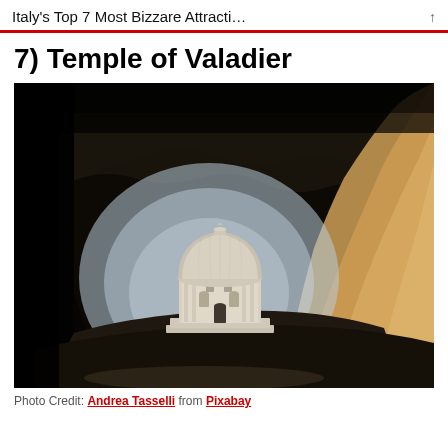Italy's Top 7 Most Bizzare Attracti…
7) Temple of Valadier
[Figure (photo): Photo of the Temple of Valadier, a white domed neoclassical building nestled inside a large natural cave/rock overhang, viewed from inside the cave looking outward toward light. The cave walls are rough limestone, dark on the left and tan/ochre on the right.]
Photo Credit: Andrea Tasselli from Pixabay